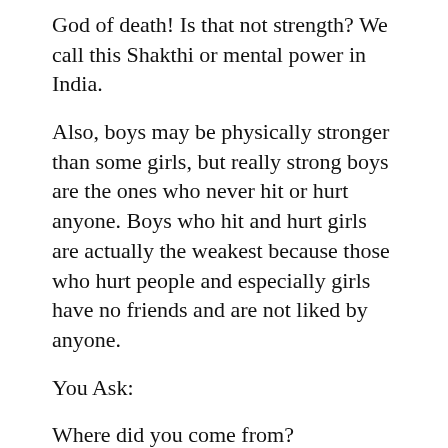God of death! Is that not strength? We call this Shakthi or mental power in India.
Also, boys may be physically stronger than some girls, but really strong boys are the ones who never hit or hurt anyone. Boys who hit and hurt girls are actually the weakest because those who hurt people and especially girls have no friends and are not liked by anyone.
You Ask:
Where did you come from?
How would life be without your mother?
Who prays for your well-being every single